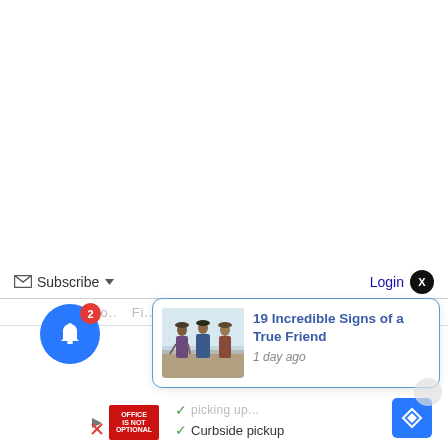[Figure (screenshot): White background area comprising most of the upper page]
Subscribe ▼
Login X
[Figure (screenshot): Notification popup card with image of three women on a beach, title '19 Incredible Signs of a True Friend', timestamp '1 day ago']
19 Incredible Signs of a True Friend
1 day ago
[Figure (screenshot): Blue circular bell notification button with red badge showing '2']
Curbside pickup